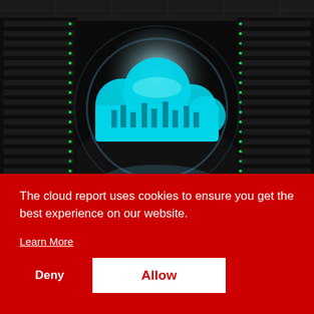[Figure (photo): Data center server room with rows of server racks on both sides, dark with green LED lights, glowing cyan holographic cloud icon in the center with circuit board patterns, bright white/blue light emanating from center background.]
The cloud report uses cookies to ensure you get the best experience on our website.
Learn More
Deny
Allow